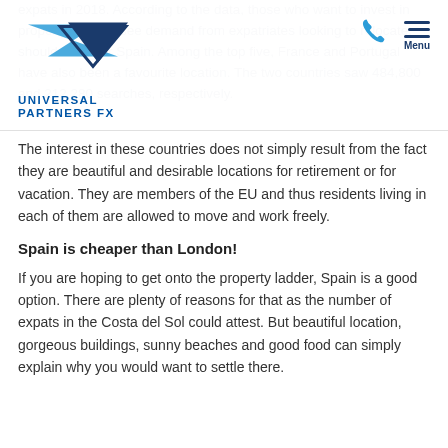Universal Partners FX — logo and navigation header
expats in 2018. According to the data, those who want to invest in property that will see demand from expatriates looking to relocate, should consider Spain. Among the top five, France and Portugal have also been a favourite location. The two countries saw 484,800 and 212,280 searches, respectively.
The interest in these countries does not simply result from the fact they are beautiful and desirable locations for retirement or for vacation. They are members of the EU and thus residents living in each of them are allowed to move and work freely.
Spain is cheaper than London!
If you are hoping to get onto the property ladder, Spain is a good option. There are plenty of reasons for that as the number of expats in the Costa del Sol could attest. But beautiful location, gorgeous buildings, sunny beaches and good food can simply explain why you would want to settle there.